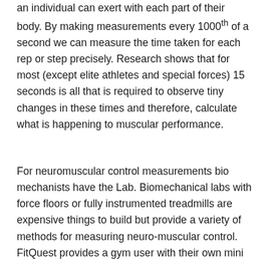an individual can exert with each part of their body. By making measurements every 1000th of a second we can measure the time taken for each rep or step precisely. Research shows that for most (except elite athletes and special forces) 15 seconds is all that is required to observe tiny changes in these times and therefore, calculate what is happening to muscular performance.
For neuromuscular control measurements bio mechanists have the Lab. Biomechanical labs with force floors or fully instrumented treadmills are expensive things to build but provide a variety of methods for measuring neuro-muscular control. FitQuest provides a gym user with their own mini